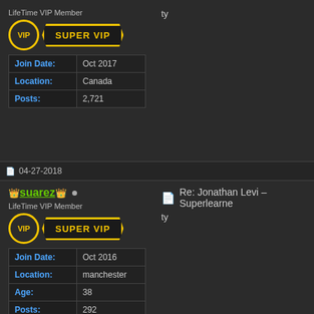LifeTime VIP Member
[Figure (illustration): VIP circle badge and SUPER VIP banner badge in yellow]
| Join Date: | Oct 2017 |
| Location: | Canada |
| Posts: | 2,721 |
ty
04-27-2018
suarez •
Re: Jonathan Levi – Superlearne
ty
LifeTime VIP Member
[Figure (illustration): VIP circle badge and SUPER VIP banner badge in yellow]
| Join Date: | Oct 2016 |
| Location: | manchester |
| Age: | 38 |
| Posts: | 292 |